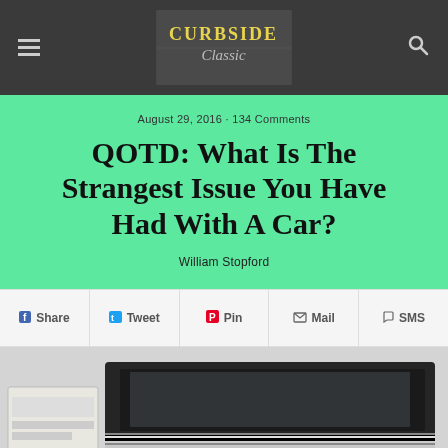Curbside Classic — navigation header
August 29, 2016 · 134 Comments
QOTD: What Is The Strangest Issue You Have Had With A Car?
William Stopford
Share  Tweet  Pin  Mail  SMS
[Figure (photo): Close-up photo of a car's chrome window trim and glass, partially cropped]